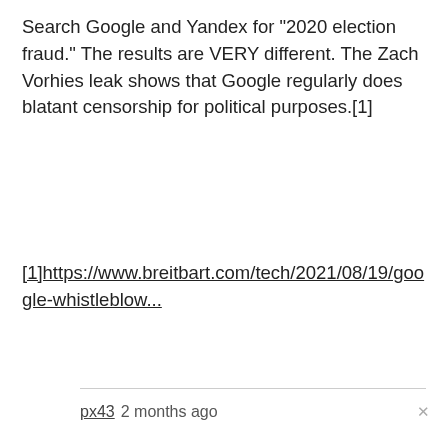Search Google and Yandex for "2020 election fraud." The results are VERY different. The Zach Vorhies leak shows that Google regularly does blatant censorship for political purposes.[1]
[1]https://www.breitbart.com/tech/2021/08/19/google-whistleblow...
px43 2 months ago
Totally, just like how if you want to find out what really happened in Tiananmen Square in 1989, your best bet is Baidu. Totally different results than what Google gives you!
I sincerely have deep respect for Yandex for releasing this, and Baidu for some of the amazing research they've released over the years, but both are deeply deeply beholden to